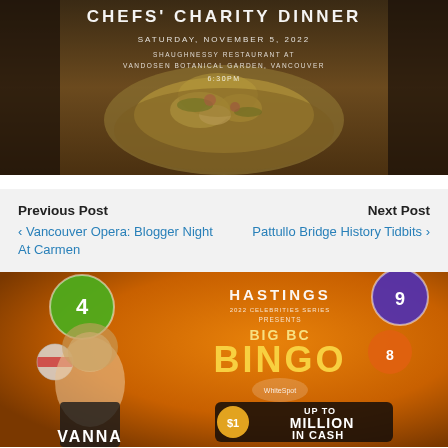[Figure (photo): Chefs' Charity Dinner promotional image showing a chef holding a wooden board with a colorful salad dish. Text overlay reads: CHEFS' CHARITY DINNER, SATURDAY, NOVEMBER 5, 2022, SHAUGHNESSY RESTAURANT AT VANDOSEN BOTANICAL GARDEN, VANCOUVER, 6:30PM]
Previous Post
Next Post
< Vancouver Opera: Blogger Night At Carmen
Pattullo Bridge History Tidbits >
[Figure (photo): Hastings presents Big BC Bingo advertisement featuring Vanna White, with bingo balls, White Spot sponsorship logo, and text: UP TO $1 MILLION IN CASH, Sat. Oct 1 & Sun. Oct 2, Pacific Coliseum]